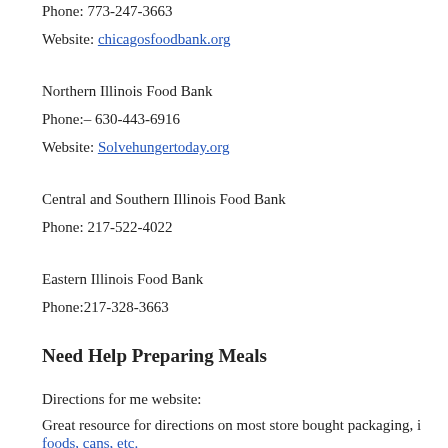Phone: 773-247-3663
Website: chicagosfoodbank.org
Northern Illinois Food Bank
Phone:– 630-443-6916
Website: Solvehungertoday.org
Central and Southern Illinois Food Bank
Phone: 217-522-4022
Eastern Illinois Food Bank
Phone:217-328-3663
Need Help Preparing Meals
Directions for me website:
Great resource for directions on most store bought packaging, i... foods, cans, etc.
direction for me...